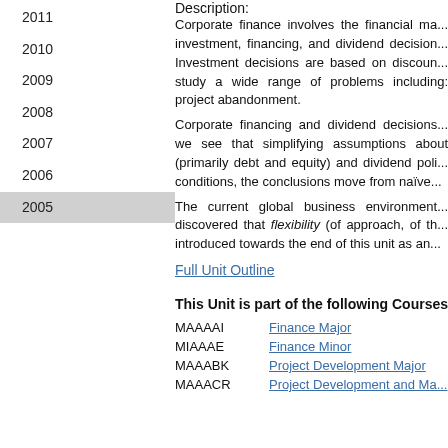2011
2010
2009
2008
2007
2006
2005
Description:
Corporate finance involves the financial ma... investment, financing, and dividend decision... Investment decisions are based on discoun... study a wide range of problems including: project abandonment.
Corporate financing and dividend decisions... we see that simplifying assumptions about (primarily debt and equity) and dividend poli... conditions, the conclusions move from naïve...
The current global business environment... discovered that flexibility (of approach, of th... introduced towards the end of this unit as an...
Full Unit Outline
This Unit is part of the following Courses
| Code | Name |
| --- | --- |
| MAAAAI | Finance Major |
| MIAAAE | Finance Minor |
| MAAABK | Project Development Major |
| MAAACR | Project Development and Ma... |